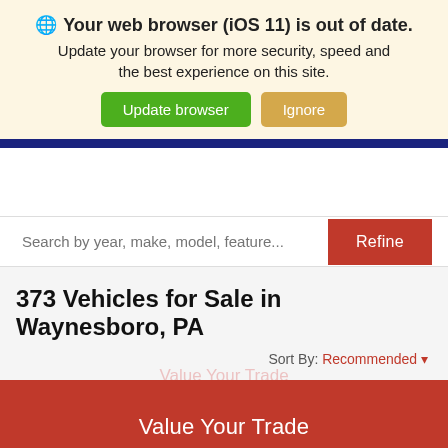🌐 Your web browser (iOS 11) is out of date. Update your browser for more security, speed and the best experience on this site.
Update browser
Ignore
Search by year, make, model, feature...
Refine
373 Vehicles for Sale in Waynesboro, PA
Sort By: Recommended
Value Your Trade